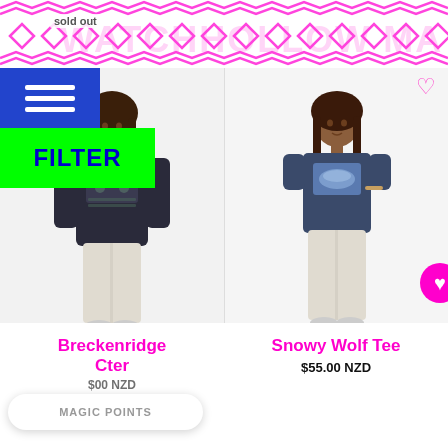WATCHHOLLOW MA... (repeating banner pattern) — sold out
[Figure (photo): Navigation hamburger menu icon on blue background]
[Figure (photo): Green FILTER button]
[Figure (photo): Product photo: person wearing dark floral/snowflake printed sweatshirt with cream pants — Breckenridge Crewneck sweater]
Breckenridge
C...ter
$...00 NZD
[Figure (photo): Product photo: person wearing navy blue Snowy Wolf graphic tee with cream pants]
Snowy Wolf Tee
$55.00 NZD
MAGIC POINTS